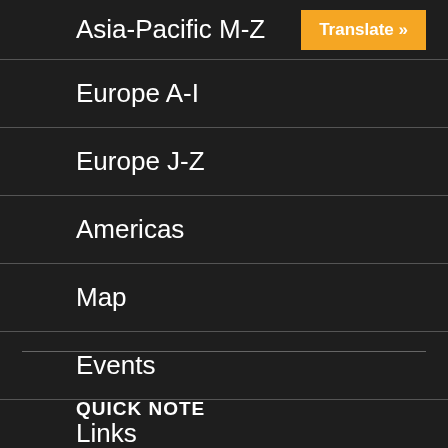Asia-Pacific M-Z
Europe A-I
Europe J-Z
Americas
Map
Events
Links
QUICK NOTE